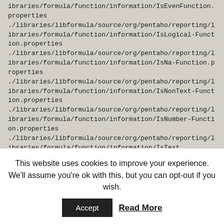./libraries/libformula/source/org/pentaho/reporting/libraries/formula/function/information/IsLogical-Function.properties
./libraries/libformula/source/org/pentaho/reporting/libraries/formula/function/information/IsNa-Function.properties
./libraries/libformula/source/org/pentaho/reporting/libraries/formula/function/information/IsNonText-Function.properties
./libraries/libformula/source/org/pentaho/reporting/libraries/formula/function/information/IsNumber-Function.properties
./libraries/libformula/source/org/pentaho/reporting/libraries/formula/function/information/IsText...
This website uses cookies to improve your experience. We'll assume you're ok with this, but you can opt-out if you wish.
Accept | Read More